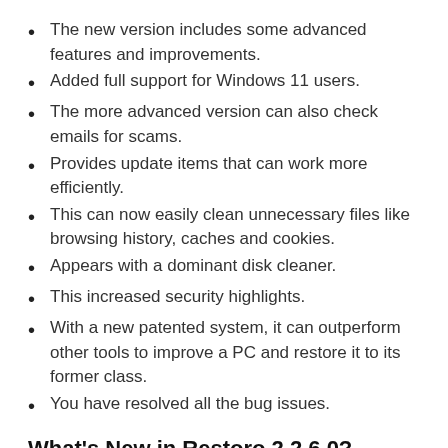The new version includes some advanced features and improvements.
Added full support for Windows 11 users.
The more advanced version can also check emails for scams.
Provides update items that can work more efficiently.
This can now easily clean unnecessary files like browsing history, caches and cookies.
Appears with a dominant disk cleaner.
This increased security highlights.
With a new patented system, it can outperform other tools to improve a PC and restore it to its former class.
You have resolved all the bug issues.
What's New in Restoro 2.2.6.0?